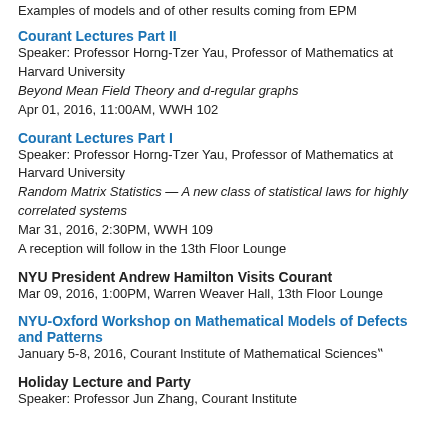Examples of models and of other results coming from EPM
Courant Lectures Part II
Speaker: Professor Horng-Tzer Yau, Professor of Mathematics at Harvard University
Beyond Mean Field Theory and d-regular graphs
Apr 01, 2016, 11:00AM, WWH 102
Courant Lectures Part I
Speaker: Professor Horng-Tzer Yau, Professor of Mathematics at Harvard University
Random Matrix Statistics — A new class of statistical laws for highly correlated systems
Mar 31, 2016, 2:30PM, WWH 109
A reception will follow in the 13th Floor Lounge
NYU President Andrew Hamilton Visits Courant
Mar 09, 2016, 1:00PM, Warren Weaver Hall, 13th Floor Lounge
NYU-Oxford Workshop on Mathematical Models of Defects and Patterns
January 5-8, 2016, Courant Institute of Mathematical Sciences…
Holiday Lecture and Party
Speaker: Professor Jun Zhang, Courant Institute